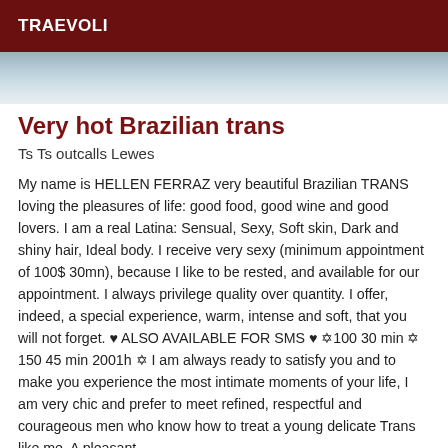TRAEVOLI
[Figure (photo): Partial photo showing clothing/person, cropped at top of content area]
Very hot Brazilian trans
Ts Ts outcalls Lewes
My name is HELLEN FERRAZ very beautiful Brazilian TRANS loving the pleasures of life: good food, good wine and good lovers. I am a real Latina: Sensual, Sexy, Soft skin, Dark and shiny hair, Ideal body. I receive very sexy (minimum appointment of 100$ 30mn), because I like to be rested, and available for our appointment. I always privilege quality over quantity. I offer, indeed, a special experience, warm, intense and soft, that you will not forget. ♥ ALSO AVAILABLE FOR SMS ♥ ✡100 30 min ✡ 150 45 min 2001h ✡ I am always ready to satisfy you and to make you experience the most intimate moments of your life, I am very chic and prefer to meet refined, respectful and courageous men who know how to treat a young delicate Trans like me. A pleasant